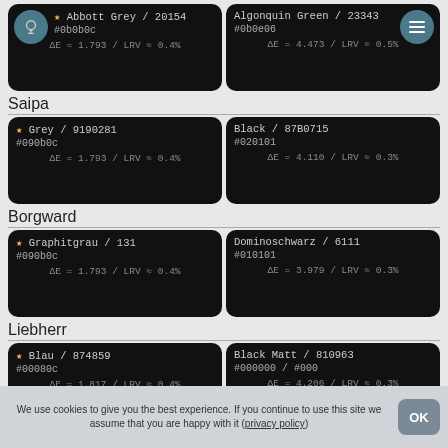[Figure (screenshot): Top partial card row: Abbott Grey / 20154 (#0b0b0c, ΔE=1.793/LRV≈0.4%) and Algonquin Green / 23343 (#0b0e06, ΔE=4.473/LRV≈0.5%)]
Saipa
[Figure (screenshot): Saipa card row: Grey / 9190281 (#090b0c, ΔE=1.793/LRV≈0.4%) and Black / 87B0715 (#020101, ΔE=4.110/LRV≈0.3%)]
Borgward
[Figure (screenshot): Borgward card row: Graphitgrau / 131 (#090b0c, ΔE=1.793/LRV≈0.4%) and Dominoschwarz / 6111 (#010101, ΔE=3.979/LRV≈0.3%)]
Liebherr
[Figure (screenshot): Liebherr card row (partial): Blau / 874859 (#00080c, ΔE=1.817/LRV≈0.4%) and Black Matt / 810963 (#000000 / #000, ΔE=4.206/LRV≈0.3%)]
We use cookies to give you the best experience. If you continue to use this site we assume that you are happy with it (privacy policy)